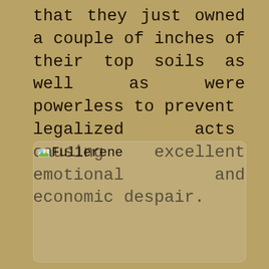that they just owned a couple of inches of their top soils as well as were powerless to prevent legalized acts causing excellent emotional and economic despair.
[Figure (illustration): A broken image placeholder labeled 'Fullerene' shown as a rounded rectangle with a small image icon and the text 'Fullerene' in the top-left corner. The image content area is empty (image failed to load).]